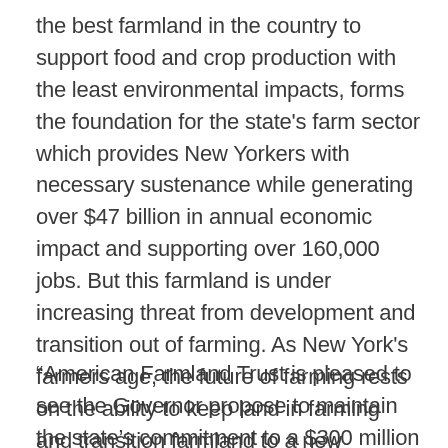the best farmland in the country to support food and crop production with the least environmental impacts, forms the foundation for the state's farm sector which provides New Yorkers with necessary sustenance while generating over $47 billion in annual economic impact and supporting over 160,000 jobs. But this farmland is under increasing threat from development and transition out of farming. As New York's farmers age, the future of farming rests on the ability to keep land in farming and transition farmland to a new generation of farmers.
“American Farmland Trust is pleased to see the Governor propose to maintain the state’s commitment to a $300 million EPF, and within this, strong funding for farmland protection during